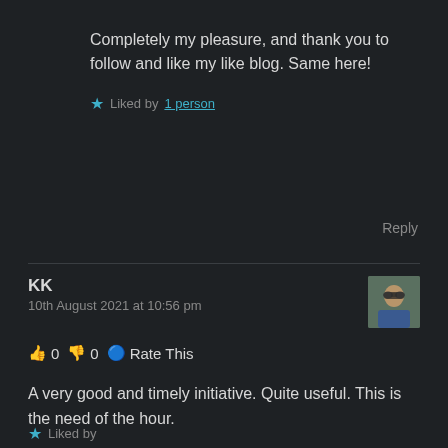Completely my pleasure, and thank you to follow and like my like blog. Same here!
★ Liked by 1 person
Reply
KK
10th August 2021 at 10:56 pm
[Figure (photo): Avatar photo of commenter KK, person wearing sunglasses]
👍 0 👎 0 🔵 Rate This
A very good and timely initiative. Quite useful. This is the need of the hour.
★ Liked by